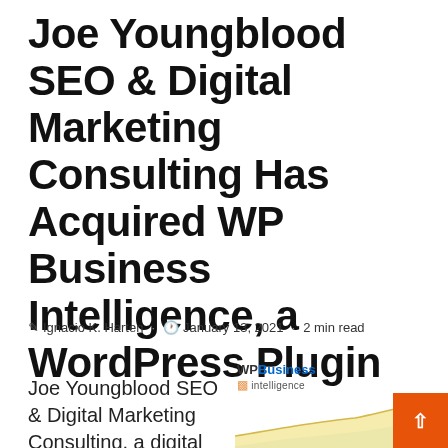Joe Youngblood SEO & Digital Marketing Consulting Has Acquired WP Business Intelligence, a WordPress Plugin
✎ Ignacio K. Harten · 🕐 January 13, 2021 · 2 min read
Joe Youngblood SEO & Digital Marketing Consulting, a digital marketing
[Figure (screenshot): WP Business Intelligence logo with bar chart icon in orange/gold, and an area chart showing growth trends in yellow and light blue, with an orange scroll-to-top button in the bottom right corner.]